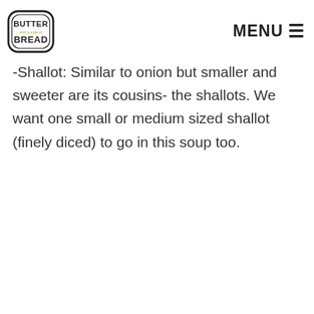BUTTER with a side of BREAD | MENU
-Shallot: Similar to onion but smaller and sweeter are its cousins- the shallots. We want one small or medium sized shallot (finely diced) to go in this soup too.